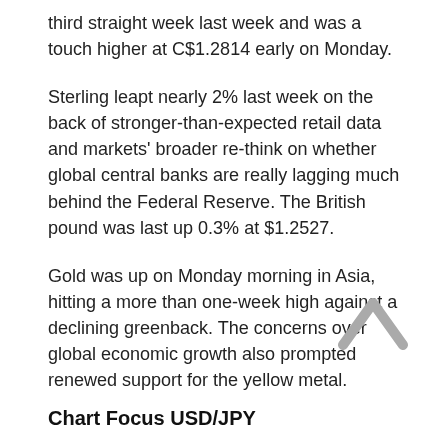third straight week last week and was a touch higher at C$1.2814 early on Monday.
Sterling leapt nearly 2% last week on the back of stronger-than-expected retail data and markets' broader re-think on whether global central banks are really lagging much behind the Federal Reserve. The British pound was last up 0.3% at $1.2527.
Gold was up on Monday morning in Asia, hitting a more than one-week high against a declining greenback. The concerns over global economic growth also prompted renewed support for the yellow metal.
[Figure (other): An upward-pointing chevron/arrow icon in grey, used as a scroll-to-top button]
Chart Focus USD/JPY